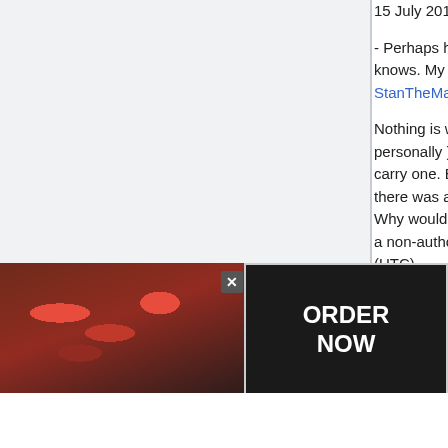15 July 2010 (UTC)
- Perhaps he found a revolver easier to use/maintain, who knows. My question is what's wrong with him having a revolver? StanTheMan 01:05, 7 August 2010 (UTC)
Nothing is wrong with him having a revolver ( like revolvers personally ), but I doubt that the F.B.I. would authorize him to carry one. But let's not hung up on reality. I'm just wondering if there was a backstory to the switch. Reid is a thinker. A genius. Why would he do this assuming that he did get a waiver to carry a non-authorized handgun. -- Jcordell 01:53, 7 August 2010 (UTC)
- Ah. Well, I don't think there was any real explanation in-show for the change, at least not that I've seen yet. Guess that's
[Figure (screenshot): Seamless food delivery advertisement banner with pizza image on left, red Seamless logo in center, and ORDER NOW button on right with dark background.]